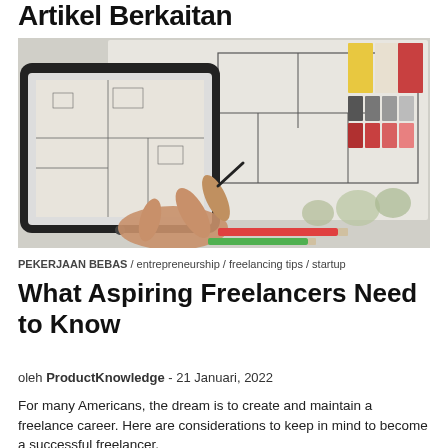Artikel Berkaitan
[Figure (photo): A hand holding a tablet displaying architectural floor plans, with architectural sketches and color swatches on a table in the background, along with pencils.]
PEKERJAAN BEBAS / entrepreneurship / freelancing tips / startup
What Aspiring Freelancers Need to Know
oleh ProductKnowledge - 21 Januari, 2022
For many Americans, the dream is to create and maintain a freelance career. Here are considerations to keep in mind to become a successful freelancer.